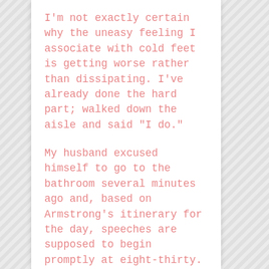I'm not exactly certain why the uneasy feeling I associate with cold feet is getting worse rather than dissipating. I've already done the hard part; walked down the aisle and said "I do."

My husband excused himself to go to the bathroom several minutes ago and, based on Armstrong's itinerary for the day, speeches are supposed to begin promptly at eight-thirty. According to my phone, that's less than two